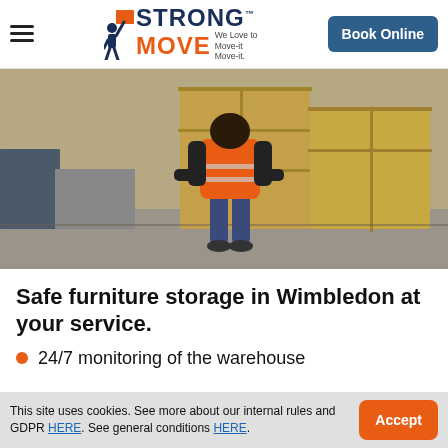Strong Move — We Love to Move-it Move-it | Book Online
[Figure (photo): Worker in orange high-visibility vest standing in front of large wooden storage crates in a warehouse]
Safe furniture storage in Wimbledon at your service.
24/7 monitoring of the warehouse
This site uses cookies. See more about our internal rules and GDPR HERE. See general conditions HERE.